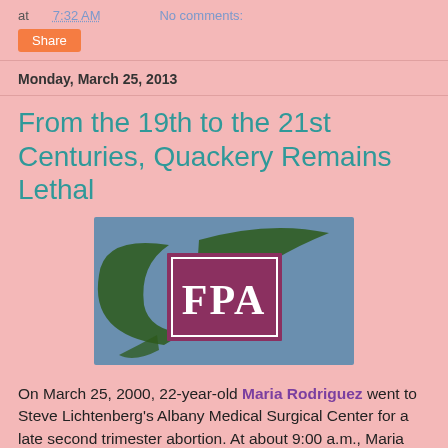at 7:32 AM   No comments:
Share
Monday, March 25, 2013
From the 19th to the 21st Centuries, Quackery Remains Lethal
[Figure (logo): FPA logo — blue-gray rectangular background with dark green curving leaf/feather design and a maroon square containing white letters 'FPA']
On March 25, 2000, 22-year-old Maria Rodriguez went to Steve Lichtenberg's Albany Medical Surgical Center for a late second trimester abortion. At about 9:00 a.m., Maria was showing signs of shock from hemorrhage. Lichtenberg had failed to notice that he had ruptured Maria's uterus. Rather